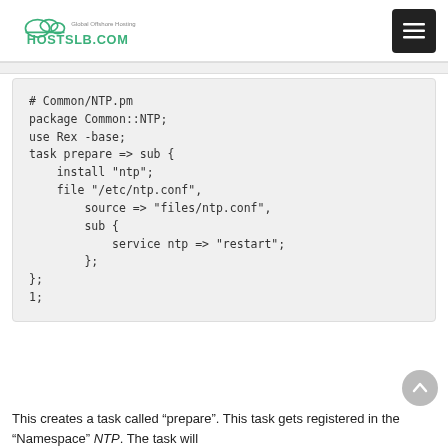HOSTSLB.COM — Global Offshore Hosting
[Figure (screenshot): Code block showing Perl/Rex NTP module: # Common/NTP.pm, package Common::NTP;, use Rex -base;, task prepare => sub {, install "ntp";, file "/etc/ntp.conf",, source => "files/ntp.conf",, on_change => sub {, service ntp => "restart";, };, };, 1;]
This creates a task called “prepare”. This task gets registered in the “Namespace” NTP. The task will